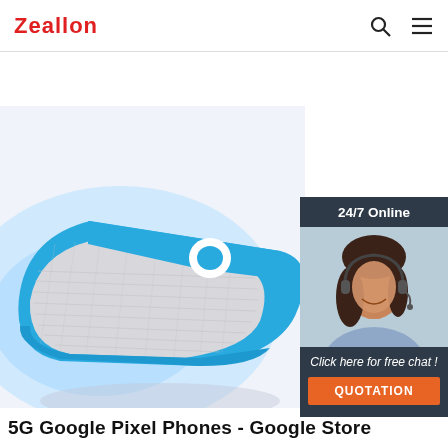Zeallon
[Figure (photo): Blue and white portable Bluetooth speaker photographed at an angle on white background]
[Figure (infographic): 24/7 Online chat widget showing a customer service representative with headset, text 'Click here for free chat!' and an orange QUOTATION button]
5G Google Pixel Phones - Google Store